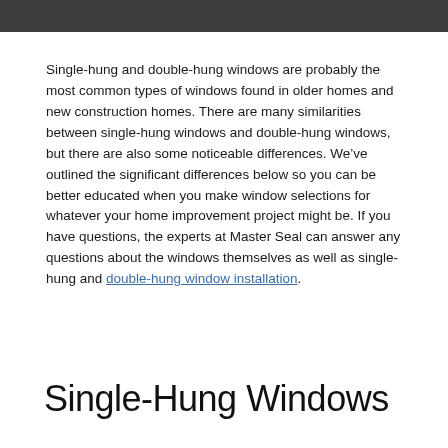Single-hung and double-hung windows are probably the most common types of windows found in older homes and new construction homes. There are many similarities between single-hung windows and double-hung windows, but there are also some noticeable differences. We’ve outlined the significant differences below so you can be better educated when you make window selections for whatever your home improvement project might be. If you have questions, the experts at Master Seal can answer any questions about the windows themselves as well as single-hung and double-hung window installation.
Single-Hung Windows